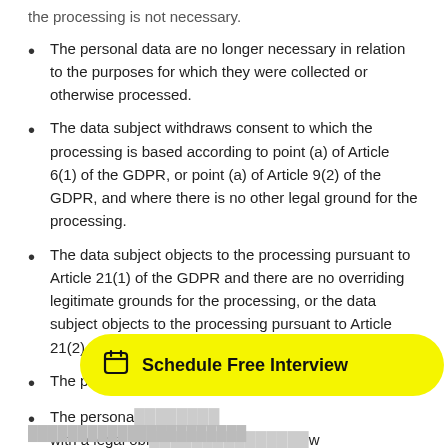the processing is not necessary.
The personal data are no longer necessary in relation to the purposes for which they were collected or otherwise processed.
The data subject withdraws consent to which the processing is based according to point (a) of Article 6(1) of the GDPR, or point (a) of Article 9(2) of the GDPR, and where there is no other legal ground for the processing.
The data subject objects to the processing pursuant to Article 21(1) of the GDPR and there are no overriding legitimate grounds for the processing, or the data subject objects to the processing pursuant to Article 21(2) of the GDPR.
The personal d...
The persona... with a legal obl...
[Figure (other): Yellow rounded pill-shaped button with calendar icon and text 'Schedule Free Interview']